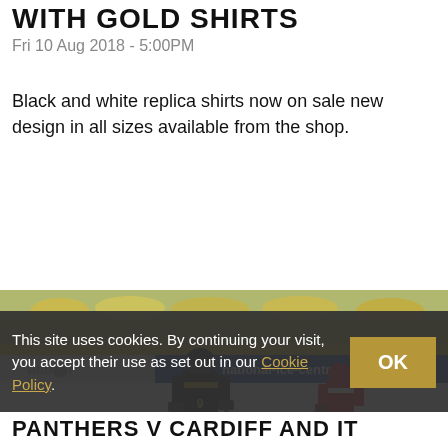WITH GOLD SHIRTS
Fri 10 Aug 2018 - 5:00PM
Black and white replica shirts now on sale new design in all sizes available from the shop.
READ MORE
[Figure (photo): Ice hockey game photo showing a player in black and gold uniform (number 9) skating with the puck, and a player in red and white uniform in the background. Rink advertisement boards visible including 'national-ice-centre.com'.]
This site uses cookies. By continuing your visit, you accept their use as set out in our Cookie Policy.
PANTHERS V CARDIFF AND IT